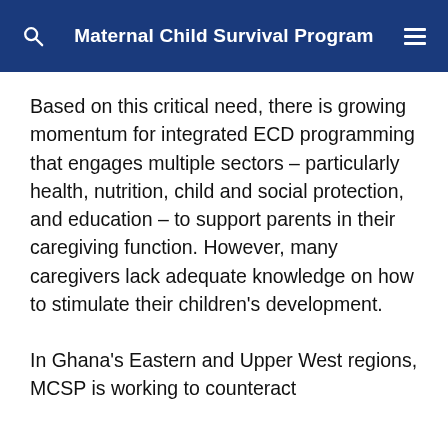Maternal Child Survival Program
Based on this critical need, there is growing momentum for integrated ECD programming that engages multiple sectors – particularly health, nutrition, child and social protection, and education – to support parents in their caregiving function. However, many caregivers lack adequate knowledge on how to stimulate their children's development.
In Ghana's Eastern and Upper West regions, MCSP is working to counteract